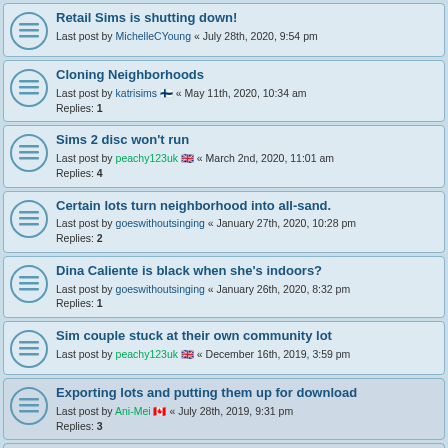Retail Sims is shutting down! Last post by MichelleCYoung « July 28th, 2020, 9:54 pm
Cloning Neighborhoods Last post by katrisims [FI] « May 11th, 2020, 10:34 am Replies: 1
Sims 2 disc won't run Last post by peachy123uk [UK] « March 2nd, 2020, 11:01 am Replies: 4
Certain lots turn neighborhood into all-sand. Last post by goeswithoutsinging « January 27th, 2020, 10:28 pm Replies: 2
Dina Caliente is black when she's indoors? Last post by goeswithoutsinging « January 26th, 2020, 8:32 pm Replies: 1
Sim couple stuck at their own community lot Last post by peachy123uk [UK] « December 16th, 2019, 3:59 pm
Exporting lots and putting them up for download Last post by Ani-Mei [CA] « July 28th, 2019, 9:31 pm Replies: 3
Bigfoot Face Last post by ciyrose [US] « May 17th, 2019, 5:55 pm
can't seem to get the neighborhoods with a twist to show up Last post by calientequeen [UK] « April 18th, 2019, 7:17 am Replies: 3